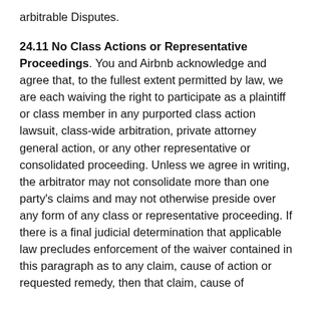arbitrable Disputes.
24.11 No Class Actions or Representative Proceedings. You and Airbnb acknowledge and agree that, to the fullest extent permitted by law, we are each waiving the right to participate as a plaintiff or class member in any purported class action lawsuit, class-wide arbitration, private attorney general action, or any other representative or consolidated proceeding. Unless we agree in writing, the arbitrator may not consolidate more than one party's claims and may not otherwise preside over any form of any class or representative proceeding. If there is a final judicial determination that applicable law precludes enforcement of the waiver contained in this paragraph as to any claim, cause of action or requested remedy, then that claim, cause of